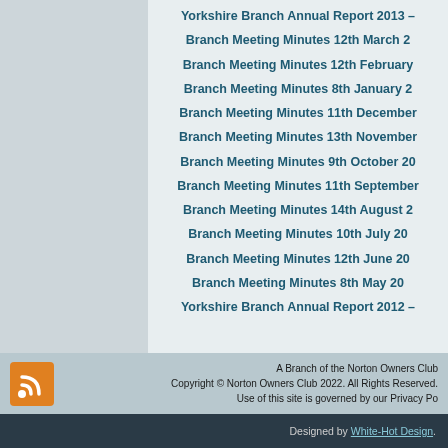Yorkshire Branch Annual Report 2013 –
Branch Meeting Minutes 12th March 2
Branch Meeting Minutes 12th February
Branch Meeting Minutes 8th January 2
Branch Meeting Minutes 11th December
Branch Meeting Minutes 13th November
Branch Meeting Minutes 9th October 20
Branch Meeting Minutes 11th September
Branch Meeting Minutes 14th August 2
Branch Meeting Minutes 10th July 20
Branch Meeting Minutes 12th June 20
Branch Meeting Minutes 8th May 20
Yorkshire Branch Annual Report 2012 –
A Branch of the Norton Owners Club
Copyright © Norton Owners Club 2022. All Rights Reserved.
Use of this site is governed by our Privacy Policy
Designed by White-Hot Design.